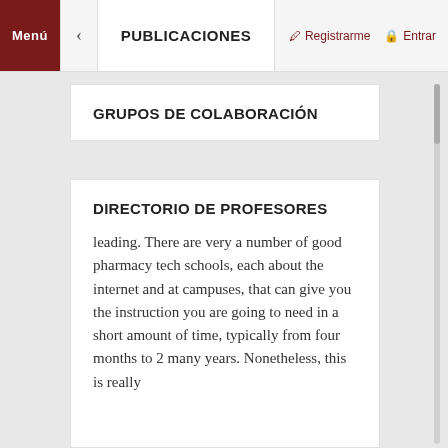Menú  <  PUBLICACIONES  Registrarme  Entrar
GRUPOS DE COLABORACIÓN
DIRECTORIO DE PROFESORES
leading. There are very a number of good pharmacy tech schools, each about the internet and at campuses, that can give you the instruction you are going to need in a short amount of time, typically from four months to 2 many years. Nonetheless, this is really